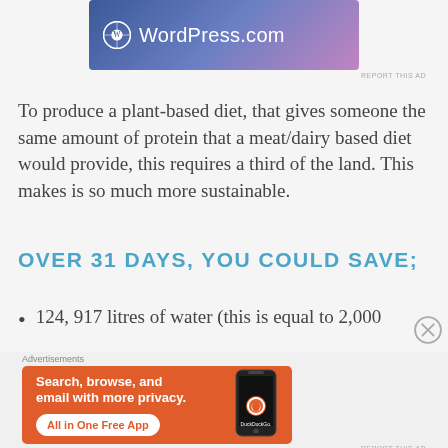[Figure (logo): WordPress.com advertisement banner with gradient blue-to-purple background showing WordPress logo and 'WordPress.com' text]
To produce a plant-based diet, that gives someone the same amount of protein that a meat/dairy based diet would provide, this requires a third of the land. This makes is so much more sustainable.
OVER 31 DAYS, YOU COULD SAVE;
124, 917 litres of water (this is equal to 2,000
[Figure (screenshot): DuckDuckGo advertisement on orange background: 'Search, browse, and email with more privacy. All in One Free App' with DuckDuckGo logo and phone image]